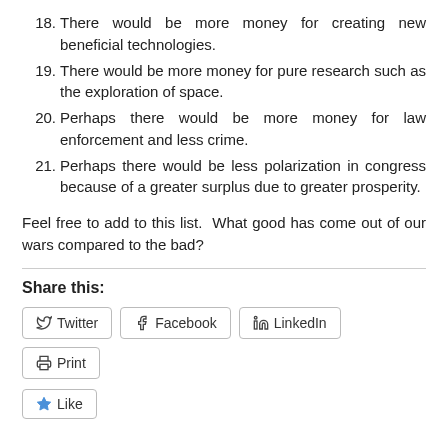18. There would be more money for creating new beneficial technologies.
19. There would be more money for pure research such as the exploration of space.
20. Perhaps there would be more money for law enforcement and less crime.
21. Perhaps there would be less polarization in congress because of a greater surplus due to greater prosperity.
Feel free to add to this list.  What good has come out of our wars compared to the bad?
Share this:
Twitter | Facebook | LinkedIn | Print
Like